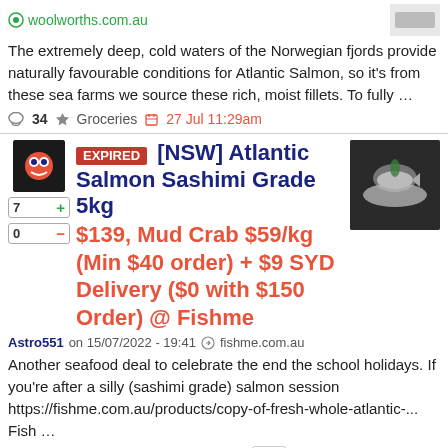woolworths.com.au
The extremely deep, cold waters of the Norwegian fjords provide naturally favourable conditions for Atlantic Salmon, so it's from these sea farms we source these rich, moist fillets. To fully …
34  Groceries  27 Jul 11:29am
EXPIRED [NSW] Atlantic Salmon Sashimi Grade 5kg $139, Mud Crab $59/kg (Min $40 order) + $9 SYD Delivery ($0 with $150 Order) @ Fishme
Astro551 on 15/07/2022 - 19:41  fishme.com.au
Another seafood deal to celebrate the end the school holidays. If you're after a silly (sashimi grade) salmon session https://fishme.com.au/products/copy-of-fresh-whole-atlantic-... Fish …
12  Groceries  29 Aug 9:41a
EXPIRED [NSW] Buy 1kg Get 1kg Free XL Aussie Cooked